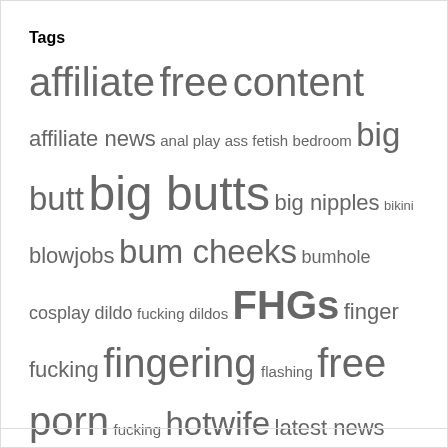Tags
affiliate free content affiliate news anal play ass fetish bedroom big butt big butts big nipples bikini blowjobs bum cheeks bumhole cosplay dildo fucking dildos FHGs finger fucking fingering flashing free porn fucking hotwife latest news lingerie masturbation naked NatalieK natural tits nudity outdoor masturbation outdoor nudity outdoors panties POV public flashing public nudity puffy pussy sex toys special deals spreading stockings striptease topless toys upskirt